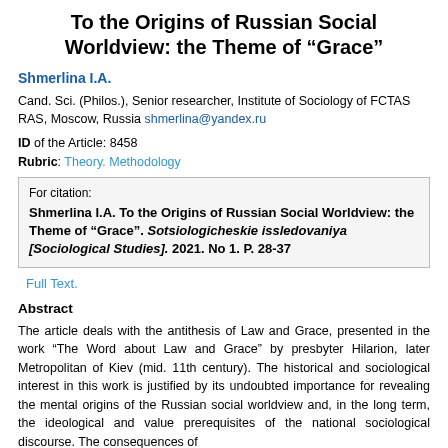To the Origins of Russian Social Worldview: the Theme of “Grace”
Shmerlina I.A.
Cand. Sci. (Philos.), Senior researcher, Institute of Sociology of FCTAS RAS, Moscow, Russia shmerlina@yandex.ru
ID of the Article: 8458
Rubric: Theory. Methodology
For citation:
Shmerlina I.A. To the Origins of Russian Social Worldview: the Theme of “Grace”. Sotsiologicheskie issledovaniya [Sociological Studies]. 2021. No 1. P. 28-37
Full Text.
Abstract
The article deals with the antithesis of Law and Grace, presented in the work “The Word about Law and Grace” by presbyter Hilarion, later Metropolitan of Kiev (mid. 11th century). The historical and sociological interest in this work is justified by its undoubted importance for revealing the mental origins of the Russian social worldview and, in the long term, the ideological and value prerequisites of the national sociological discourse. The consequences of